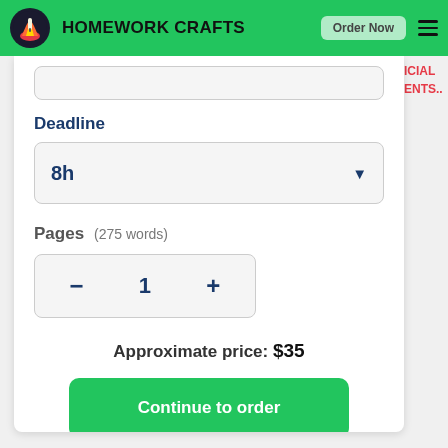HOMEWORK CRAFTS  Order Now
Deadline
8h
Pages  (275 words)
- 1 +
Approximate price: $35
Continue to order